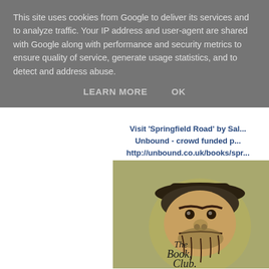This site uses cookies from Google to deliver its services and to analyze traffic. Your IP address and user-agent are shared with Google along with performance and security metrics to ensure quality of service, generate usage statistics, and to detect and address abuse.
LEARN MORE   OK
Visit 'Springfield Road' by Sal... Unbound - crowd funded p... http://unbound.co.uk/books/spr...
[Figure (illustration): Book cover showing 'The Book Club' with an illustrated face/character wearing a hat, on a green/olive background]